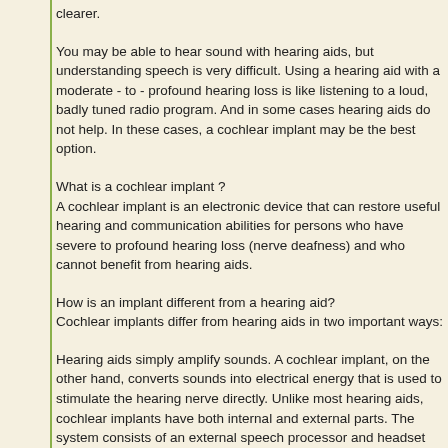clearer.
You may be able to hear sound with hearing aids, but understanding speech is very difficult. Using a hearing aid with a moderate - to - profound hearing loss is like listening to a loud, badly tuned radio program. And in some cases hearing aids do not help. In these cases, a cochlear implant may be the best option.
What is a cochlear implant ?
A cochlear implant is an electronic device that can restore useful hearing and communication abilities for persons who have severe to profound hearing loss (nerve deafness) and who cannot benefit from hearing aids.
How is an implant different from a hearing aid?
Cochlear implants differ from hearing aids in two important ways:
Hearing aids simply amplify sounds. A cochlear implant, on the other hand, converts sounds into electrical energy that is used to stimulate the hearing nerve directly. Unlike most hearing aids, cochlear implants have both internal and external parts. The system consists of an external speech processor and headset (worn behind the ear) and a surgically implanted receiver/stimulator package with an electrode array in the inner ear. A cochlear implant does the job of the hair cells in the inner ear. Hair cells help us to perceive and understand sound. Unlike a hearing aid, a cochlear implant cannot be removed. Rather, it bypasses the damaged part of the ear and stimulates the hearing nerve, which provides a clearer understanding of sound and speech.